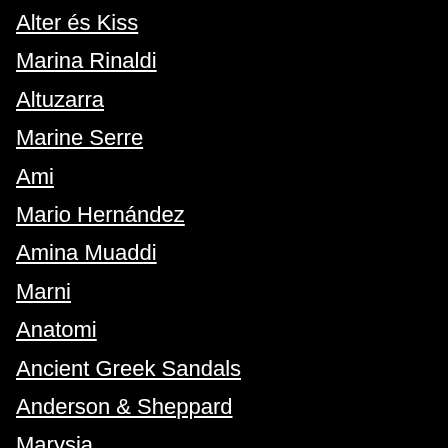Alter és Kiss
Marina Rinaldi
Altuzarra
Marine Serre
Ami
Mario Hernández
Amina Muaddi
Marni
Anatomi
Ancient Greek Sandals
Anderson & Sheppard
Marysia
Alexandre Herchcovitch